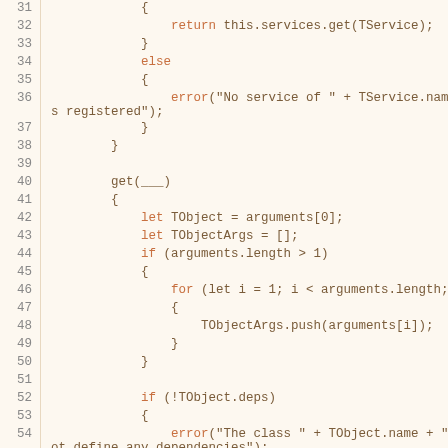Code listing lines 31-54 showing JavaScript class methods with service getter and object factory pattern